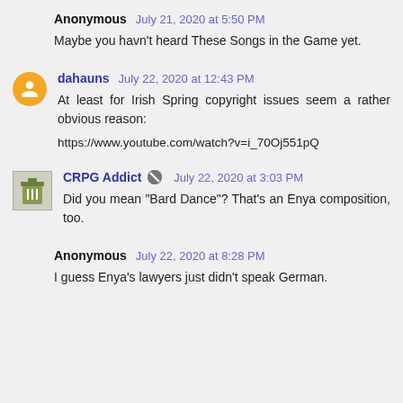Anonymous July 21, 2020 at 5:50 PM
Maybe you havn't heard These Songs in the Game yet.
dahauns July 22, 2020 at 12:43 PM
At least for Irish Spring copyright issues seem a rather obvious reason:
https://www.youtube.com/watch?v=i_70Oj551pQ
CRPG Addict July 22, 2020 at 3:03 PM
Did you mean "Bard Dance"? That's an Enya composition, too.
Anonymous July 22, 2020 at 8:28 PM
I guess Enya's lawyers just didn't speak German.